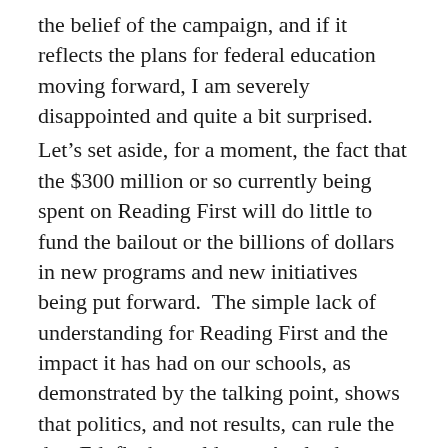the belief of the campaign, and if it reflects the plans for federal education moving forward, I am severely disappointed and quite a bit surprised. Let’s set aside, for a moment, the fact that the $300 million or so currently being spent on Reading First will do little to fund the bailout or the billions of dollars in new programs and new initiatives being put forward.  The simple lack of understanding for Reading First and the impact it has had on our schools, as demonstrated by the talking point, shows that politics, and not results, can rule the day. Eduflack would urge Axelrod — along with Obama education advisors Jon Schnur and Mike Johnston — to take a real look at RF and its